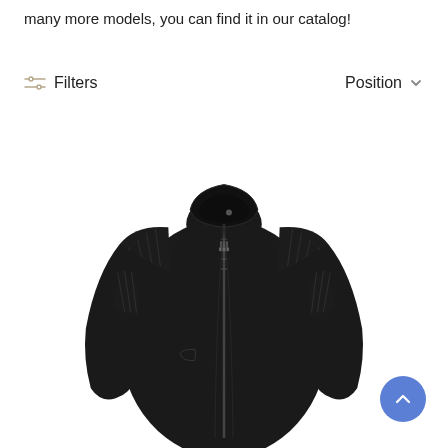many more models, you can find it in our catalog!
Filters   Position
[Figure (photo): A black women's leather moto jacket with stand collar, front zipper, and quilted shoulder panels on a white background.]